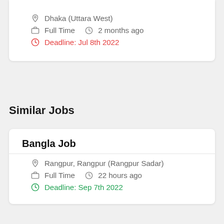Dhaka (Uttara West)
Full Time   2 months ago
Deadline: Jul 8th 2022
Similar Jobs
Bangla Job
Rangpur, Rangpur (Rangpur Sadar)
Full Time   22 hours ago
Deadline: Sep 7th 2022